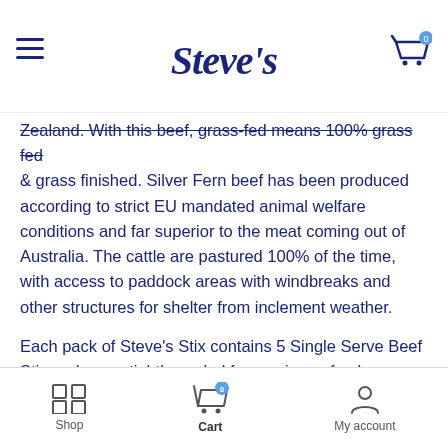Steve's
Zealand. With this beef, grass-fed means 100% grass fed & grass finished. Silver Fern beef has been produced according to strict EU mandated animal welfare conditions and far superior to the meat coming out of Australia. The cattle are pastured 100% of the time, with access to paddock areas with windbreaks and other structures for shelter from inclement weather.
Each pack of Steve's Stix contains 5 Single Serve Beef Stix and come tightly sealed for maximum freshness.
Steve's Stix have a shelf life of 12 months. Once opened, it's meant to be eaten right away.
Steve's Stix are nitrate-free, gluten-free and free of refined sugars.
Nutritional Information
Shop  Cart  My account